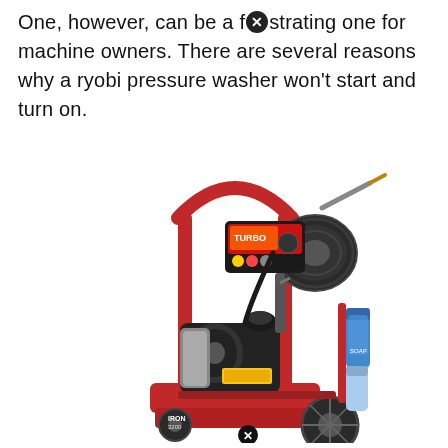One, however, can be a frustrating one for machine owners. There are several reasons why a ryobi pressure washer won't start and turn on.
[Figure (photo): A red and black gas-powered pressure washer on wheels with a hose reel, spray wand, control panel, engine, and two blue chemical bottles attached to the right side frame.]